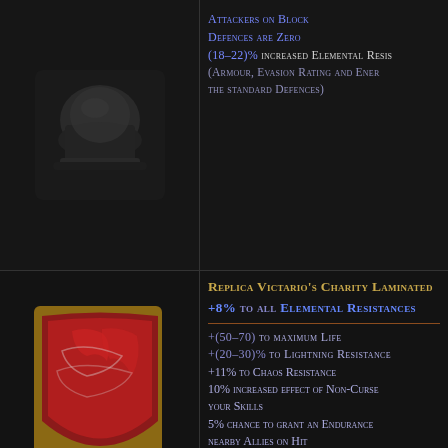Attackers on Block
Defences are Zero
(18–22)% increased Elemental Resis
(Armour, Evasion Rating and Ener
the standard Defences)
Replica Victario's Charity Laminated
+8% to all Elemental Resistances
+(50–70) to maximum Life
+(20–30)% to Lightning Resistance
+11% to Chaos Resistance
10% increased effect of Non-Curse your Skills
5% chance to grant an Endurance nearby Allies on Hit
10% chance to grant a Frenzy Cha nearby Allies on Kill
Replica Voideye Unset Ring
Has 1 Socket